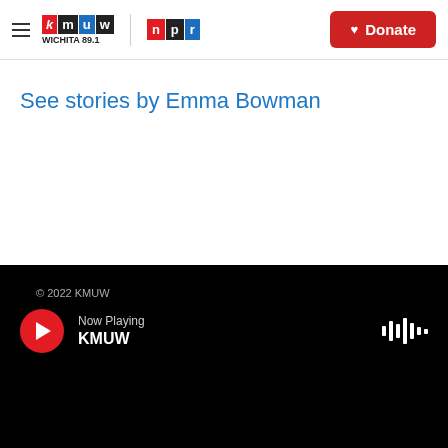KMUW Wichita 89.1 | NPR — Donate
See stories by Emma Bowman
© 2022 KMUW — Now Playing KMUW